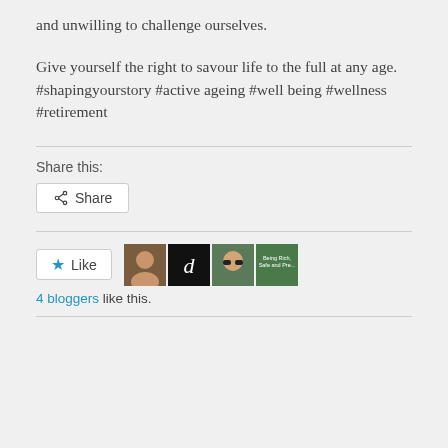and unwilling to challenge ourselves.
Give yourself the right to savour life to the full at any age.
#shapingyourstory #active ageing #well being #wellness #retirement
Share this:
[Figure (screenshot): Share button with share icon]
[Figure (screenshot): Like button with star icon and 4 blogger avatars. Text: 4 bloggers like this.]